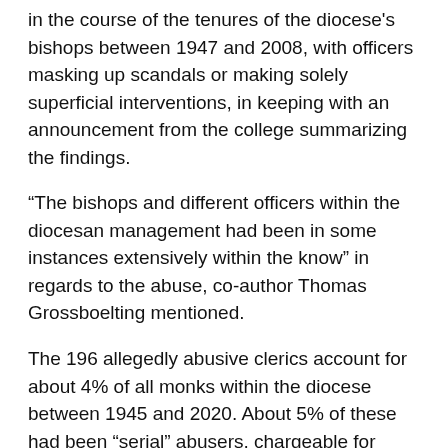in the course of the tenures of the diocese's bishops between 1947 and 2008, with officers masking up scandals or making solely superficial interventions, in keeping with an announcement from the college summarizing the findings.
“The bishops and different officers within the diocesan management had been in some instances extensively within the know” in regards to the abuse, co-author Thomas Grossboelting mentioned.
The 196 allegedly abusive clerics account for about 4% of all monks within the diocese between 1945 and 2020. About 5% of these had been “serial” abusers, chargeable for greater than 10 acts every, the authors discovered. They mentioned there have been at the least 610 victims, however the true determine is probably going eight to 10 occasions greater.